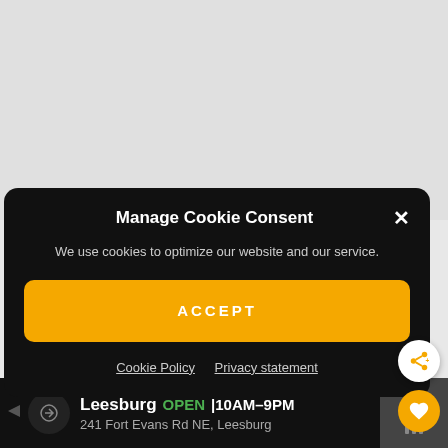Manage Cookie Consent
We use cookies to optimize our website and our service.
ACCEPT
Cookie Policy   Privacy statement
[Figure (screenshot): Orange circular FAB button with heart icon]
[Figure (screenshot): White circular FAB button with share icon]
[Figure (screenshot): Bottom advertisement bar: Leesburg OPEN 10AM-9PM, 241 Fort Evans Rd NE, Leesburg with navigation and close icons]